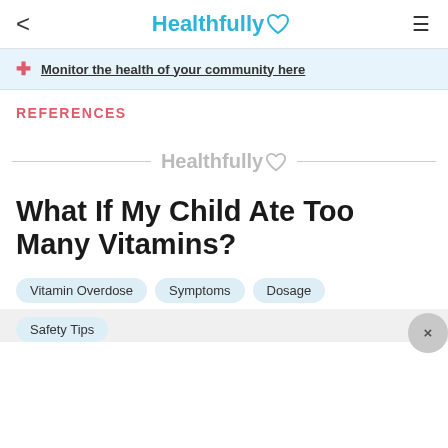< Healthfully ♡ ≡
Monitor the health of your community here
REFERENCES
[Figure (logo): Healthfully watermark logo with heart outline, centered between two horizontal lines]
What If My Child Ate Too Many Vitamins?
Vitamin Overdose
Symptoms
Dosage
Safety Tips